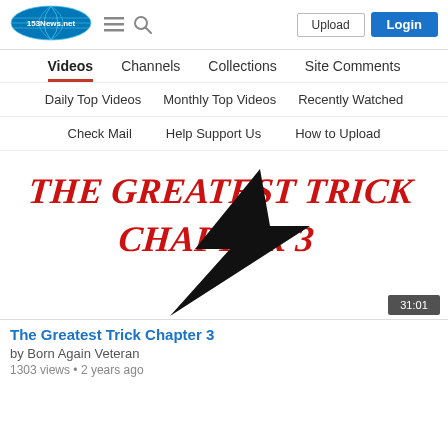[Figure (logo): 153News.net logo - oval shape with blue globe/net graphic and text]
Upload | Login
Videos | Channels | Collections | Site Comments
Daily Top Videos | Monthly Top Videos | Recently Watched
Check Mail | Help Support Us | How to Upload
[Figure (screenshot): Video thumbnail showing 'The Greatest Trick Chapter 3' with large black lightning bolt and red graffiti-style text on white background. Duration badge shows 31:01]
The Greatest Trick Chapter 3
by Born Again Veteran
1303 views • 2 years ago